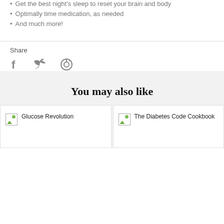Get the best night's sleep to reset your brain and body
Optimally time medication, as needed
And much more!
Share
[Figure (other): Social media share icons: Facebook, Twitter, Pinterest]
You may also like
Glucose Revolution
The Diabetes Code Cookbook